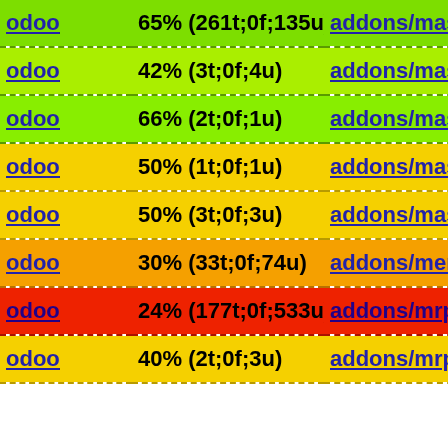| Module | Coverage | Path |
| --- | --- | --- |
| odoo | 65% (261t;0f;135u) | addons/mass_ |
| odoo | 42% (3t;0f;4u) | addons/mass_ |
| odoo | 66% (2t;0f;1u) | addons/mass_ |
| odoo | 50% (1t;0f;1u) | addons/mass_ |
| odoo | 50% (3t;0f;3u) | addons/mass_ |
| odoo | 30% (33t;0f;74u) | addons/memb |
| odoo | 24% (177t;0f;533u) | addons/mrp/i1 |
| odoo | 40% (2t;0f;3u) | addons/mrp_a |